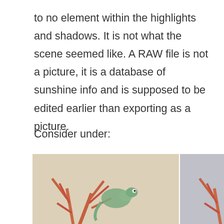to no element within the highlights and shadows. It is not what the scene seemed like. A RAW file is not a picture, it is a database of sunshine info and is supposed to be edited earlier than exporting as a picture.
Consider under:
[Figure (photo): Three side-by-side photographs of a small green chameleon or lizard figurine perched on reddish-orange branches. Left panel has warm beige/cream background, middle panel has cool grey background, right panel has light blue sky background.]